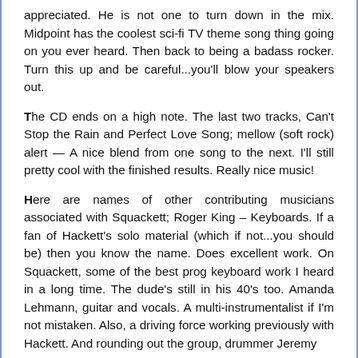appreciated. He is not one to turn down in the mix. Midpoint has the coolest sci-fi TV theme song thing going on you ever heard. Then back to being a badass rocker. Turn this up and be careful...you'll blow your speakers out.
The CD ends on a high note. The last two tracks, Can't Stop the Rain and Perfect Love Song; mellow (soft rock) alert — A nice blend from one song to the next. I'll still pretty cool with the finished results. Really nice music!
Here are names of other contributing musicians associated with Squackett; Roger King – Keyboards. If a fan of Hackett's solo material (which if not...you should be) then you know the name. Does excellent work. On Squackett, some of the best prog keyboard work I heard in a long time. The dude's still in his 40's too. Amanda Lehmann, guitar and vocals. A multi-instrumentalist if I'm not mistaken. Also, a driving force working previously with Hackett. And rounding out the group, drummer Jeremy